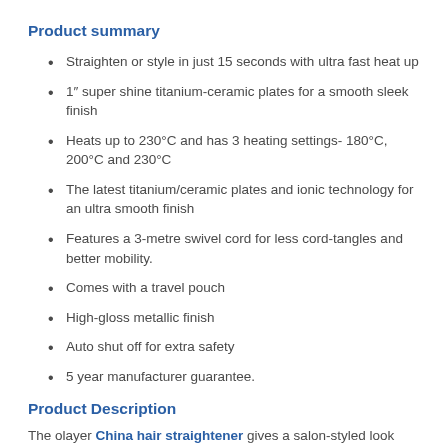Product summary
Straighten or style in just 15 seconds with ultra fast heat up
1″ super shine titanium-ceramic plates for a smooth sleek finish
Heats up to 230°C and has 3 heating settings- 180°C, 200°C and 230°C
The latest titanium/ceramic plates and ionic technology for an ultra smooth finish
Features a 3-metre swivel cord for less cord-tangles and better mobility.
Comes with a travel pouch
High-gloss metallic finish
Auto shut off for extra safety
5 year manufacturer guarantee.
Product Description
The olayer China hair straightener gives a salon-styled look